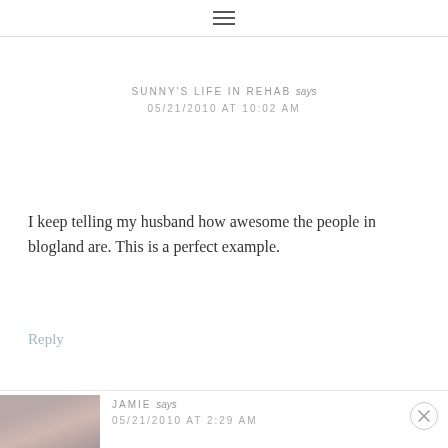≡
SUNNY'S LIFE IN REHAB says
05/21/2010 AT 10:02 AM
I keep telling my husband how awesome the people in blogland are. This is a perfect example.
Reply
JAMIE says
05/21/2010 AT 2:29 AM